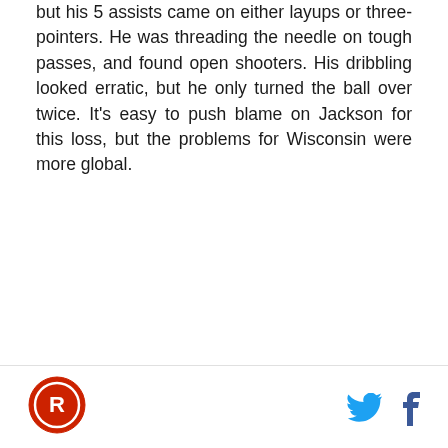but his 5 assists came on either layups or three-pointers. He was threading the needle on tough passes, and found open shooters. His dribbling looked erratic, but he only turned the ball over twice. It's easy to push blame on Jackson for this loss, but the problems for Wisconsin were more global.
Their defense does not look sharp. There's no easy answer to their defensive struggles either. Excluding Michigan's 4 minute stretch without a field goal, the Badgers struggled to force back-to-back stops. The transition defense still looked rusty, and that needs to improve. When they play against guards who create and make shots, their pick-and-roll defense falls short. Sadly for Wisconsin, they face a very tough matchup: